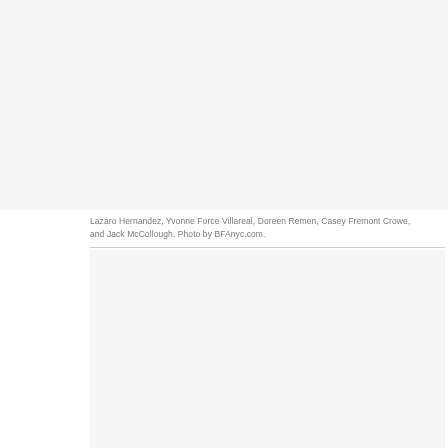[Figure (photo): Top photo area, light gray background, no visible image content]
Lazaro Hernandez, Yvonne Force Villareal, Doreen Remen, Casey Fremont Crowe, and Jack McCollough. Photo by BFAnyc.com.
[Figure (photo): Bottom photo area, light gray background, no visible image content]